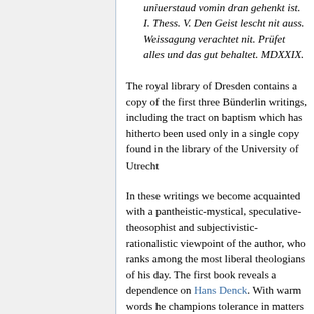uniuerstaud vomin dran gehenkt ist. I. Thess. V. Den Geist lescht nit auss. Weissagung verachtet nit. Prüfet alles und das gut behaltet. MDXXIX.
The royal library of Dresden contains a copy of the first three Bünderlin writings, including the tract on baptism which has hitherto been used only in a single copy found in the library of the University of Utrecht
In these writings we become acquainted with a pantheistic-mystical, speculative-theosophist and subjectivistic-rationalistic viewpoint of the author, who ranks among the most liberal theologians of his day. The first book reveals a dependence on Hans Denck. With warm words he champions tolerance in matters of faith, emphasizes